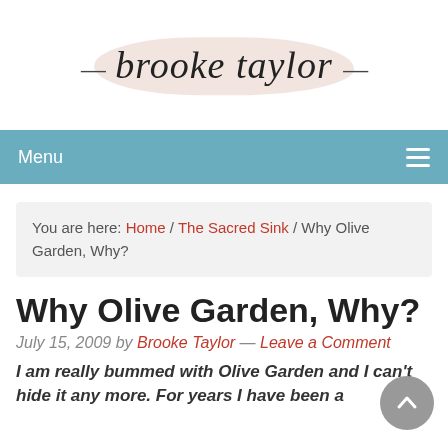[Figure (logo): Brooke Taylor blog logo — script/cursive text 'brooke taylor' with decorative dashes on a brushstroke background]
Menu ≡
You are here: Home / The Sacred Sink / Why Olive Garden, Why?
Why Olive Garden, Why?
July 15, 2009 by Brooke Taylor — Leave a Comment
I am really bummed with Olive Garden and I can't hide it any more. For years I have been a